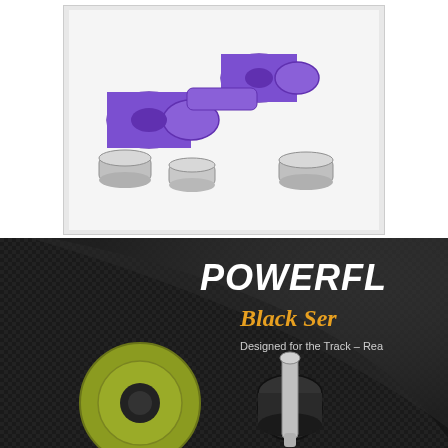[Figure (photo): Purple Powerflex Road Series polyurethane bushes with metal sleeves on white background]
Powerflex Road Series Front Upper Control Arm Bush PFF3-203
£ 90.97 Inc VAT
[Figure (photo): Powerflex Black Series product image showing black rubber bushes with metal sleeve, with Powerflex Black Series logo and text 'Designed for the Track - Rea...']